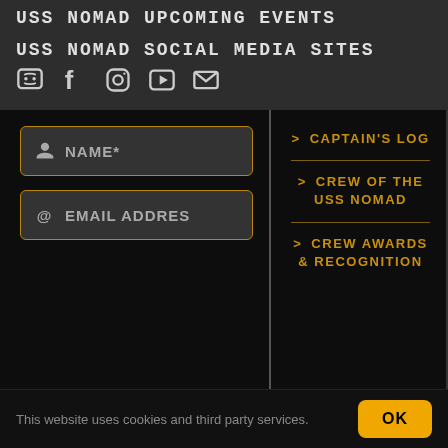USS NOMAD UPCOMING EVENTS
USS NOMAD SOCIAL MEDIA SITES
[Figure (illustration): Row of social media icons: Discord, Facebook, Instagram, YouTube, Email]
NAME*
EMAIL ADDRES
> CAPTAIN'S LOG
> CREW OF THE USS NOMAD
> CREW AWARDS & RECOGNITION
This website uses cookies and third party services.
OK